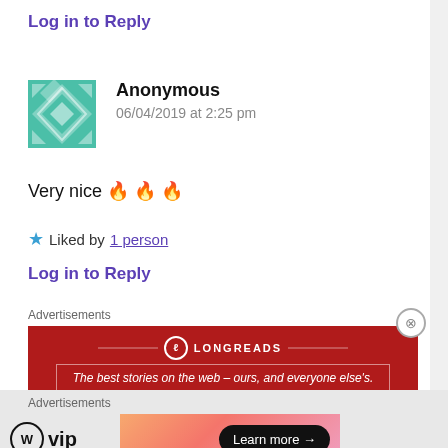Log in to Reply
Anonymous
06/04/2019 at 2:25 pm
Very nice 🔥🔥🔥
★ Liked by 1 person
Log in to Reply
Advertisements
[Figure (other): Longreads advertisement banner: red background with white text reading 'The best stories on the web – ours, and everyone else's.']
REPORT THIS AD
Advertisements
[Figure (other): WordPress VIP advertisement with gradient background and 'Learn more' button]